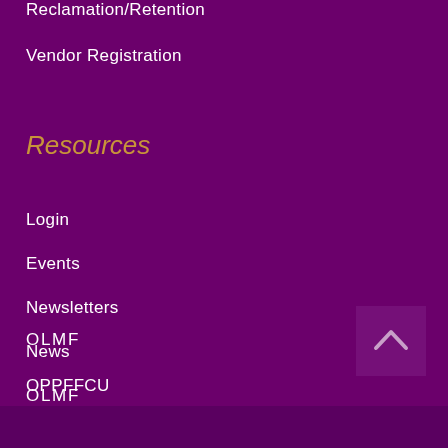Reclamation/Retention
Vendor Registration
Resources
Login
Events
Newsletters
News
OLMF
OPPFFCU
[Figure (other): Back to top button with upward chevron arrow on dark purple background]